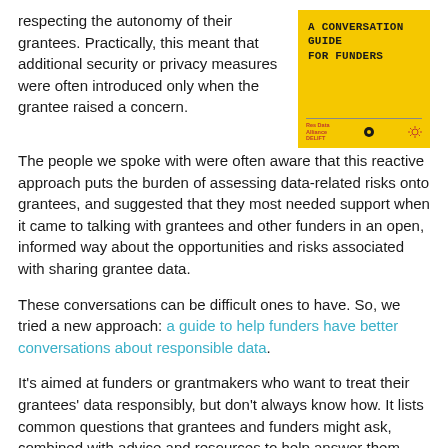respecting the autonomy of their grantees. Practically, this meant that additional security or privacy measures were often introduced only when the grantee raised a concern. The people we spoke with were often aware that this reactive approach puts the burden of assessing data-related risks onto grantees, and suggested that they most needed support when it came to talking with grantees and other funders in an open, informed way about the opportunities and risks associated with sharing grantee data.
[Figure (illustration): Yellow book cover titled 'A CONVERSATION GUIDE FOR FUNDERS' in monospace font, with logos and text at the bottom]
These conversations can be difficult ones to have. So, we tried a new approach: a guide to help funders have better conversations about responsible data.
It's aimed at funders or grantmakers who want to treat their grantees' data responsibly, but don't always know how. It lists common questions that grantees and funders might ask, combined with advice and resources to help answer them, and tips for structuring a proactive conversation with